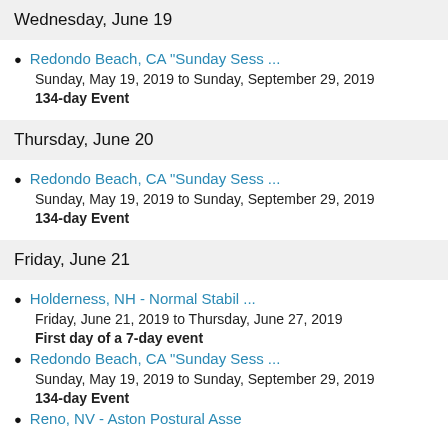Wednesday, June 19
Redondo Beach, CA "Sunday Sess ...
Sunday, May 19, 2019 to Sunday, September 29, 2019
134-day Event
Thursday, June 20
Redondo Beach, CA "Sunday Sess ...
Sunday, May 19, 2019 to Sunday, September 29, 2019
134-day Event
Friday, June 21
Holderness, NH - Normal Stabil ...
Friday, June 21, 2019 to Thursday, June 27, 2019
First day of a 7-day event
Redondo Beach, CA "Sunday Sess ...
Sunday, May 19, 2019 to Sunday, September 29, 2019
134-day Event
Reno, NV - Aston Postural Asse